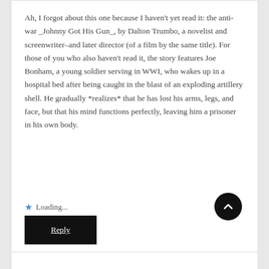Ah, I forgot about this one because I haven't yet read it: the anti-war _Johnny Got His Gun_, by Dalton Trumbo, a novelist and screenwriter–and later director (of a film by the same title). For those of you who also haven't read it, the story features Joe Bonham, a young soldier serving in WWI, who wakes up in a hospital bed after being caught in the blast of an exploding artillery shell. He gradually *realizes* that he has lost his arms, legs, and face, but that his mind functions perfectly, leaving him a prisoner in his own body.
Loading...
Reply